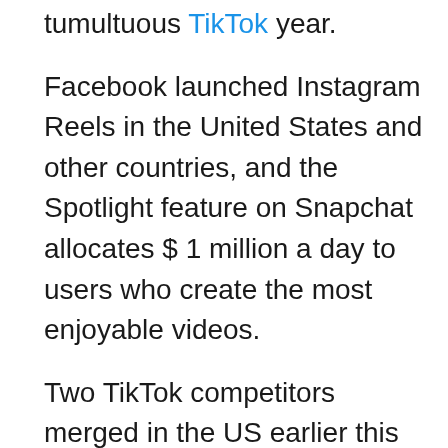tumultuous TikTok year.
Facebook launched Instagram Reels in the United States and other countries, and the Spotlight feature on Snapchat allocates $ 1 million a day to users who create the most enjoyable videos.
Two TikTok competitors merged in the US earlier this year, while Reddit acquired another called Dubsmash late last year.
YouTube plans to take advantage of its wider ecosystem by launching the ability to use audio from videos across its platform.
T[icon] ans you can add your own creativity to the content you love to watch on YouTube and help find